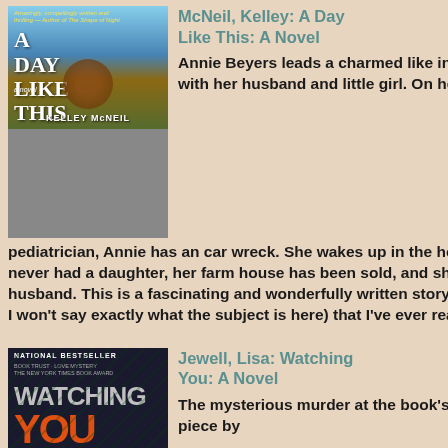[Figure (photo): Book cover of 'A Day Like This' by Kelley McNeil — sky blue and golden tones with a house and figure]
McNeil, Kelley: A Day Like This: A Novel
Annie Beyers leads a charmed like in her Upstate NY farmhouse with her husband and little girl. On her way to vist her daughter's pediatrician, Annie has an car wreck. She wakes up in the hospital to learned that she has never had a daughter, her farm house has been sold, and she is separated from her husband. This is a fascinating and wonderfully written story---the best on this subject land I won't say exactly what the subject is here) that I've ever read. (****)
[Figure (photo): Book cover of 'Watching You' by Lisa Jewell — dark background with leaves and bold orange text]
Jewell, Lisa: Watching You: A Novel
The mysterious murder at the book's center unfolds gradually, as piece by